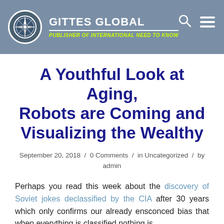Gittes Global — Publisher of International Need to Know
A Youthful Look at Aging, Robots are Coming and Visualizing the Wealthy
September 20, 2018 / 0 Comments / in Uncategorized / by admin
Perhaps you read this week about the discovery of Soviet jokes declassified by the CIA after 30 years which only confirms our already ensconced bias that when everything is classified nothing is